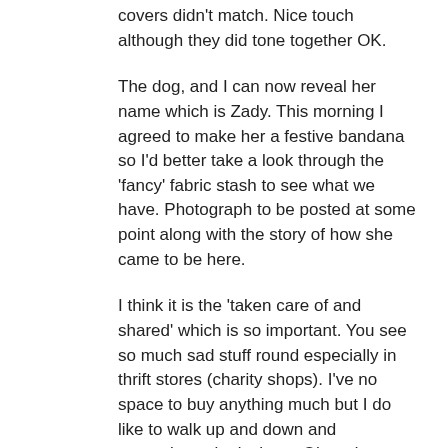covers didn't match. Nice touch although they did tone together OK.
The dog, and I can now reveal her name which is Zady. This morning I agreed to make her a festive bandana so I'd better take a look through the 'fancy' fabric stash to see what we have. Photograph to be posted at some point along with the story of how she came to be here.
I think it is the 'taken care of and shared' which is so important. You see so much sad stuff round especially in thrift stores (charity shops). I've no space to buy anything much but I do like to walk up and down and appreciate what's there. Oh and places....I guess you and others pick up on the love and connection I feel for the Abbey and the surrounding countryside.
↳ REPLY